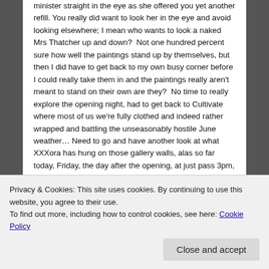minister straight in the eye as she offered you yet another refill. You really did want to look her in the eye and avoid looking elsewhere; I mean who wants to look a naked Mrs Thatcher up and down?  Not one hundred percent sure how well the paintings stand up by themselves, but then I did have to get back to my own busy corner before I could really take them in and the paintings really aren't meant to stand on their own are they?  No time to really explore the opening night, had to get back to Cultivate where most of us we're fully clothed and indeed rather wrapped and battling the unseasonably hostile June weather… Need to go and have another look at what XXXora has hung on those gallery walls, alas so far today, Friday, the day after the opening, at just pass 3pm, no one has
Privacy & Cookies: This site uses cookies. By continuing to use this website, you agree to their use.
To find out more, including how to control cookies, see here: Cookie Policy
then, maybe tomorrow…